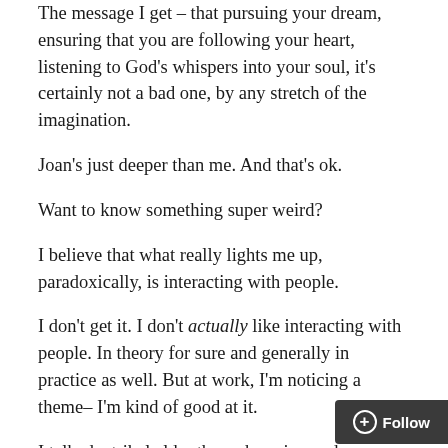The message I get – that pursuing your dream, ensuring that you are following your heart, listening to God's whispers into your soul, it's certainly not a bad one, by any stretch of the imagination.
Joan's just deeper than me. And that's ok.
Want to know something super weird?
I believe that what really lights me up, paradoxically, is interacting with people.
I don't get it. I don't actually like interacting with people. In theory for sure and generally in practice as well. But at work, I'm noticing a theme– I'm kind of good at it.
I talked a tribal elder through saving and attaching a document to an email over the phone yesterday. It took me 45 minutes. He called again this afternoon and we d…